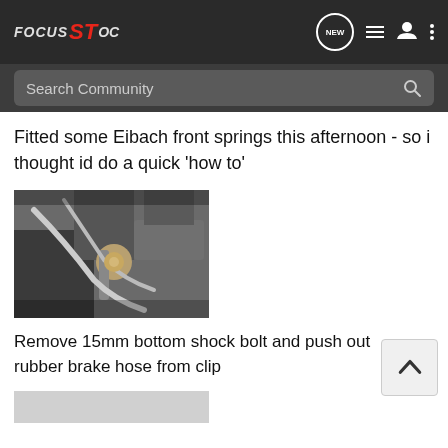FOCUS ST OC
Fitted some Eibach front springs this afternoon - so i thought id do a quick 'how to'
[Figure (photo): Close-up photo of car suspension components showing shock absorber, brake hose and related hardware]
Remove 15mm bottom shock bolt and push out rubber brake hose from clip
[Figure (photo): Partial view of another step in the suspension work process]